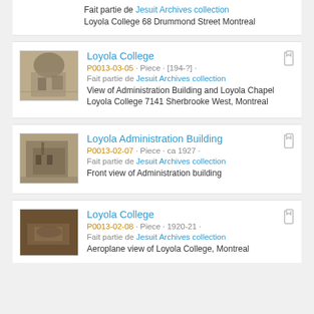Fait partie de Jesuit Archives collection
Loyola College 68 Drummond Street Montreal
[Figure (photo): Black and white photo of Loyola College building with trees]
Loyola College
P0013-03-05 · Piece · [194-?] · Fait partie de Jesuit Archives collection
View of Administration Building and Loyola Chapel Loyola College 7141 Sherbrooke West, Montreal
[Figure (photo): Black and white photo of Loyola Administration Building front view]
Loyola Administration Building
P0013-02-07 · Piece · ca 1927 · Fait partie de Jesuit Archives collection
Front view of Administration building
[Figure (photo): Black and white photo of Loyola College, aerial view]
Loyola College
P0013-02-08 · Piece · 1920-21 · Fait partie de Jesuit Archives collection
Aeroplane view of Loyola College, Montreal